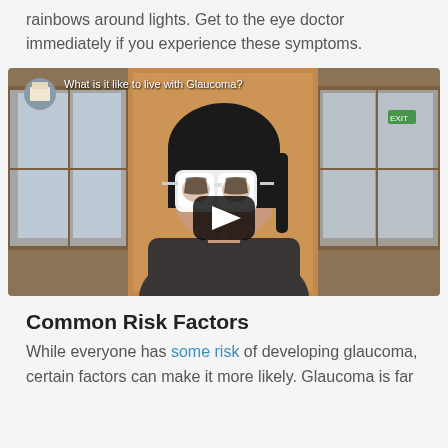rainbows around lights. Get to the eye doctor immediately if you experience these symptoms.
[Figure (screenshot): Embedded video thumbnail showing a woman wearing large white post-surgery glasses in an indoor setting. Video title overlay reads 'What is it like to live with Glaucoma?' with a YouTube-style play button in the center.]
Common Risk Factors
While everyone has some risk of developing glaucoma, certain factors can make it more likely. Glaucoma is far